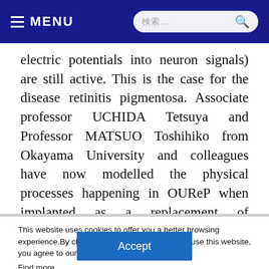MENU
electric potentials into neuron signals) are still active. This is the case for the disease retinitis pigmentosa. Associate professor UCHIDA Tetsuya and Professor MATSUO Toshihiko from Okayama University and colleagues have now modelled the physical processes happening in OUReP when implanted as a replacement of photoreceptors in a mammalian eye.
This website uses cookies to offer you a better browsing experience.By clicking "Accept" or continuing to use this website, you agree to our use of cookies. Find more